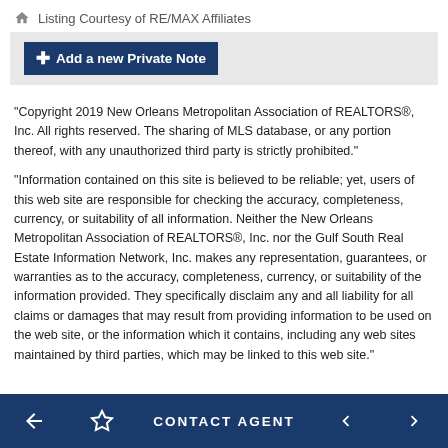Listing Courtesy of RE/MAX Affiliates
Add a new Private Note
"Copyright 2019 New Orleans Metropolitan Association of REALTORS®, Inc. All rights reserved. The sharing of MLS database, or any portion thereof, with any unauthorized third party is strictly prohibited."
"Information contained on this site is believed to be reliable; yet, users of this web site are responsible for checking the accuracy, completeness, currency, or suitability of all information. Neither the New Orleans Metropolitan Association of REALTORS®, Inc. nor the Gulf South Real Estate Information Network, Inc. makes any representation, guarantees, or warranties as to the accuracy, completeness, currency, or suitability of the information provided. They specifically disclaim any and all liability for all claims or damages that may result from providing information to be used on the web site, or the information which it contains, including any web sites maintained by third parties, which may be linked to this web site."
CONTACT AGENT